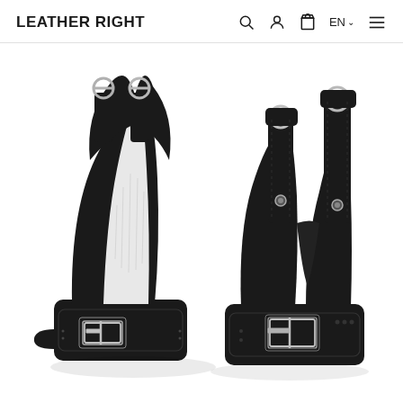LEATHER RIGHT  🔍  👤  🛍  EN  ☰
[Figure (photo): Product photo of black leather suspension wrist cuffs with fur lining and silver D-rings and buckles, displayed as a pair on white background. Left cuff shown from front with white fur interior visible; right cuff shown from side with adjustable straps and silver hardware.]